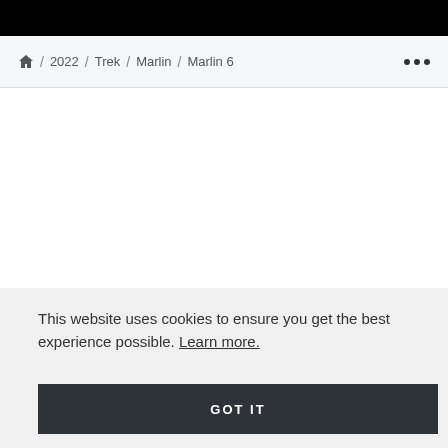/ 2022 / Trek / Marlin / Marlin 6
This website uses cookies to ensure you get the best experience possible. Learn more.
GOT IT